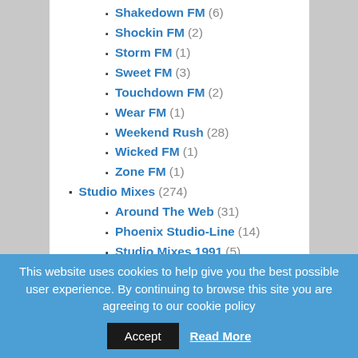Shakedown FM (6)
Shockin FM (2)
Storm FM (1)
Sweet FM (3)
Touchdown FM (2)
Wear FM (1)
Weekend Rush (28)
Wicked FM (1)
Zone FM (1)
Studio Mixes (274)
Around The Web (31)
Phoenix Studio-Line (14)
Studio Mixes 1991 (5)
Studio Mixes 1992 (49)
Studio Mixes 1993 (54)
Studio Mixes 1994 (38)
This website uses cookies to help give you the best possible user experience. By continuing to browse this site you are agreeing to our cookie policy  Accept  Read More